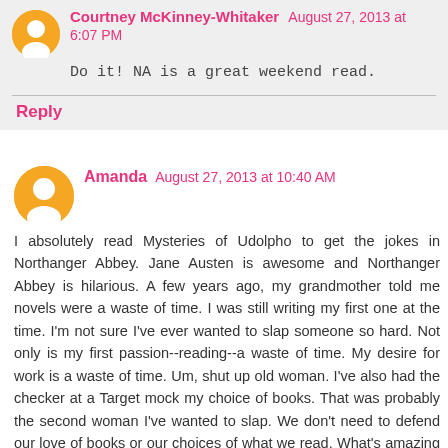Courtney McKinney-Whitaker  August 27, 2013 at 6:07 PM
Do it! NA is a great weekend read.
Reply
Amanda  August 27, 2013 at 10:40 AM
I absolutely read Mysteries of Udolpho to get the jokes in Northanger Abbey. Jane Austen is awesome and Northanger Abbey is hilarious. A few years ago, my grandmother told me novels were a waste of time. I was still writing my first one at the time. I'm not sure I've ever wanted to slap someone so hard. Not only is my first passion--reading--a waste of time. My desire for work is a waste of time. Um, shut up old woman. I've also had the checker at a Target mock my choice of books. That was probably the second woman I've wanted to slap. We don't need to defend our love of books or our choices of what we read. What's amazing to me is that I've had two experiences that probably mirrored something Austen experienced based on the evidence of Northanger Abbey. It's been two hundred years. Let's move on